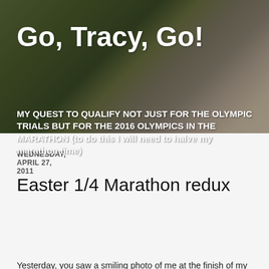[Figure (photo): Background photo of grass and a running shoe, with dark overlay, serving as the blog header background.]
Go, Tracy, Go!
MY QUEST TO QUALIFY NOT JUST FOR THE OLYMPIC TRIALS BUT FOR THE 2016 OLYMPICS IN THE MARATHON (to do this I will need to halve my marathon time)
WEDNESDAY, APRIL 27, 2011
Easter 1/4 Marathon redux
Yesterday, you saw a smiling photo of me at the finish of my impromptu 10k. So why was I so unhappy at the finish? And I was unhappy. Very unhappy.
Was it as simple as me being really disappointed in my performance? Sure. Was I also disappointed that I didn't do the second loop? Yeah, I guess. But it was a fun run.